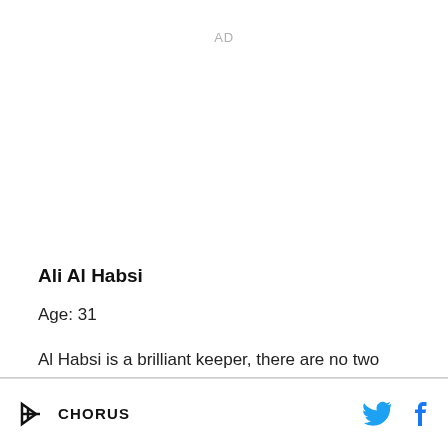AD
Ali Al Habsi
Age: 31
Al Habsi is a brilliant keeper, there are no two ways about it. Ok, last season wasn't his best but his
CHORUS